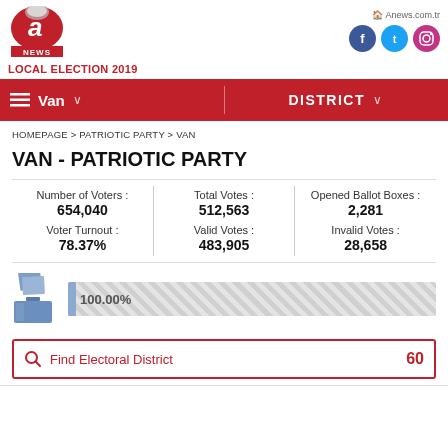[Figure (logo): A Haber / A News logo with red circular emblem]
LOCAL ELECTION 2019
Anews.com.tr
Van    DISTRICT
HOMEPAGE > PATRIOTIC PARTY > VAN
VAN - PATRIOTIC PARTY
|  |  |  |
| --- | --- | --- |
| Number of Voters : | Total Votes : | Opened Ballot Boxes : |
| 654,040 | 512,563 | 2,281 |
| Voter Turnout : | Valid Votes : | Invalid Votes : |
| 78.37% | 483,905 | 28,658 |
[Figure (infographic): Ballot box icon with 100.00% progress bar showing counting complete]
Find Electoral District    60